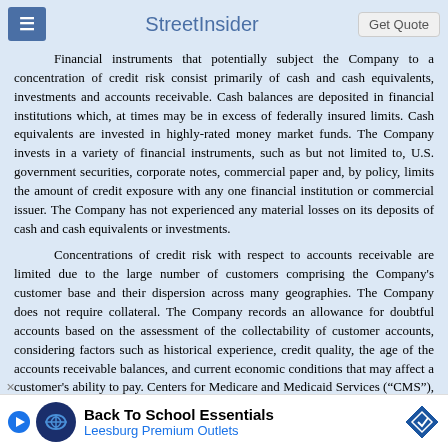StreetInsider | Get Quote
Financial instruments that potentially subject the Company to a concentration of credit risk consist primarily of cash and cash equivalents, investments and accounts receivable. Cash balances are deposited in financial institutions which, at times may be in excess of federally insured limits. Cash equivalents are invested in highly-rated money market funds. The Company invests in a variety of financial instruments, such as but not limited to, U.S. government securities, corporate notes, commercial paper and, by policy, limits the amount of credit exposure with any one financial institution or commercial issuer. The Company has not experienced any material losses on its deposits of cash and cash equivalents or investments.
Concentrations of credit risk with respect to accounts receivable are limited due to the large number of customers comprising the Company's customer base and their dispersion across many geographies. The Company does not require collateral. The Company records an allowance for doubtful accounts based on the assessment of the collectability of customer accounts, considering factors such as historical experience, credit quality, the age of the accounts receivable balances, and current economic conditions that may affect a customer's ability to pay. Centers for Medicare and Medicaid Services (“CMS”), accounted for approximately 22% and 14% of the Company's revenue for the three months ended March 31, 2022 and 2021, respectively. CMS accounted for 16% and 8[...] 31, 2021, respectively[...]
[Figure (infographic): Advertisement banner: Back To School Essentials - Leesburg Premium Outlets with logo and navigation arrow]